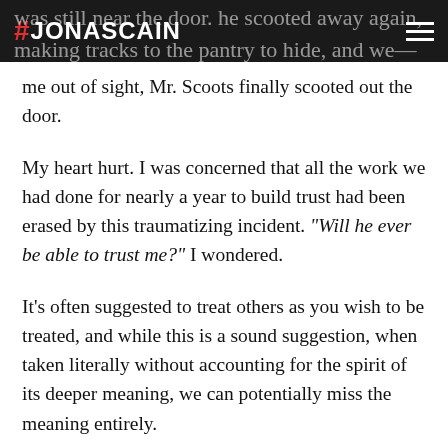#JONASCAIN
was still near the door. he scooted away again, making tracks to the pantry to hide, and with me out of sight, Mr. Scoots finally scooted out the door.
My heart hurt. I was concerned that all the work we had done for nearly a year to build trust had been erased by this traumatizing incident. “Will he ever be able to trust me?” I wondered.
It’s often suggested to treat others as you wish to be treated, and while this is a sound suggestion, when taken literally without accounting for the spirit of its deeper meaning, we can potentially miss the meaning entirely.
Instead of treating others as we’d like to be treated,